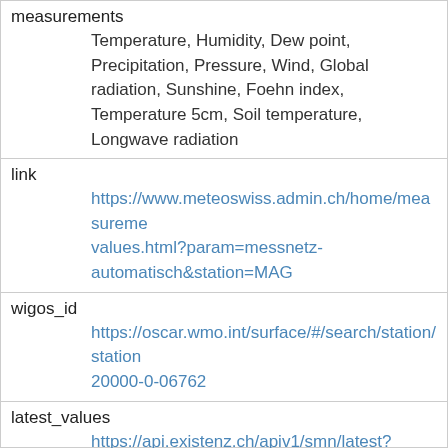| measurements | Temperature, Humidity, Dew point, Precipitation, Pressure, Wind, Global radiation, Sunshine, Foehn index, Temperature 5cm, Soil temperature, Longwave radiation |
| link | https://www.meteoswiss.admin.ch/home/measurements-values.html?param=messnetz-automatisch&station=MAG |
| wigos_id | https://oscar.wmo.int/surface/#/search/station/station20000-0-06762 |
| latest_values | https://api.existenz.ch/apiv1/smn/latest?locations=MAG |
| last_24h_values | https://api.existenz.ch/apiv1/smn/daterange?locations=MAG |
| popup | {"title": "MAG", "description": "Magadino / |